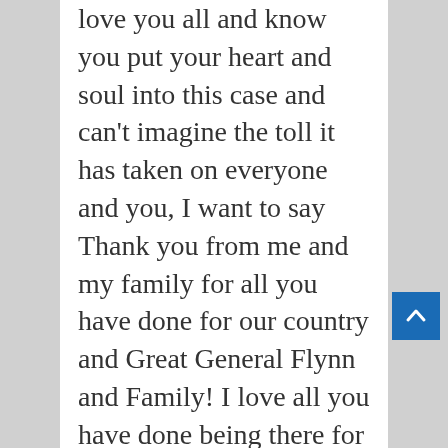love you all and know you put your heart and soul into this case and can't imagine the toll it has taken on everyone and you, I want to say Thank you from me and my family for all you have done for our country and Great General Flynn and Family! I love all you have done being there for them, keeping us updated when you had or made time, and being True to yourself and taking this next step in life on your career path, I know Texas is one Lucking n deserving state to have you clerk there for now, and I have no doubt you